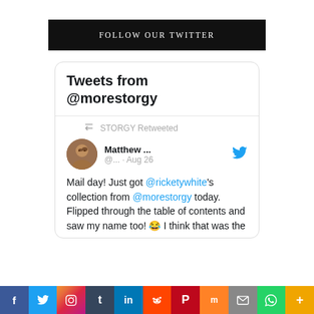FOLLOW OUR TWITTER
Tweets from @morestorgy
STORGY Retweeted
Matthew ... @... · Aug 26
Mail day! Just got @ricketywhite's collection from @morestorgy today. Flipped through the table of contents and saw my name too! 😂 I think that was the
f  Twitter  Instagram  t  in  Reddit  Pinterest  Mix  Email  WhatsApp  More